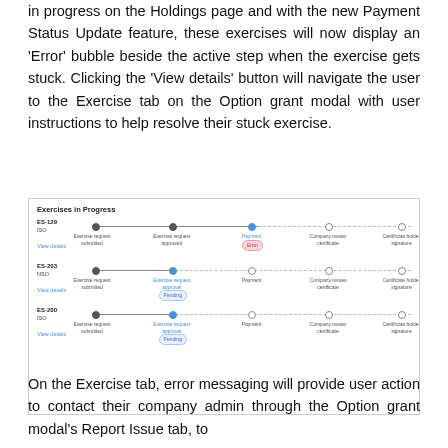Today, users can view the status of their exercises in progress on the Holdings page and with the new Payment Status Update feature, these exercises will now display an 'Error' bubble beside the active step when the exercise gets stuck. Clicking the 'View details' button will navigate the user to the Exercise tab on the Option grant modal with user instructions to help resolve their stuck exercise.
[Figure (screenshot): Exercises in Progress UI panel showing three exercise rows: ES-129 (ISO) with Payment Error bubble at active step; ES-203 (NSO) with Exercise request approval Pending; ES-200 (ISO) with Exercise request approval Pending. Each row has a multi-step timeline with dots and labels: Exercise request submitted, Exercise request approved, Payment, Company issues certificate, Certificate holder signature.]
On the Exercise tab, error messaging will provide user action to contact their company admin through the Option grant modal's Report Issue tab, to